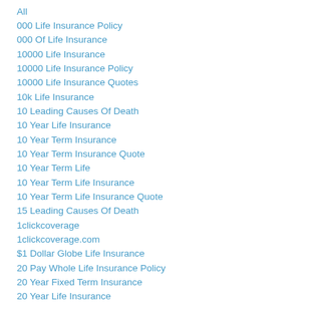All
000 Life Insurance Policy
000 Of Life Insurance
10000 Life Insurance
10000 Life Insurance Policy
10000 Life Insurance Quotes
10k Life Insurance
10 Leading Causes Of Death
10 Year Life Insurance
10 Year Term Insurance
10 Year Term Insurance Quote
10 Year Term Life
10 Year Term Life Insurance
10 Year Term Life Insurance Quote
15 Leading Causes Of Death
1clickcoverage
1clickcoverage.com
$1 Dollar Globe Life Insurance
20 Pay Whole Life Insurance Policy
20 Year Fixed Term Insurance
20 Year Life Insurance